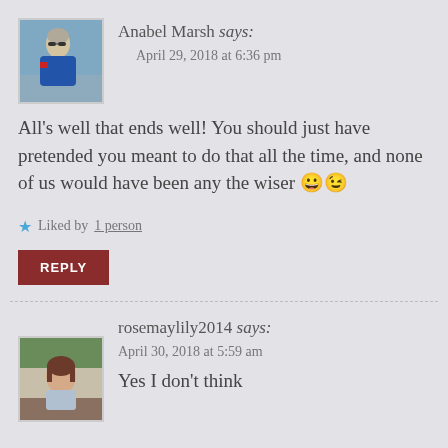Anabel Marsh says:
April 29, 2018 at 6:36 pm
[Figure (photo): Avatar photo of Anabel Marsh, an older woman with short gray hair wearing a blue jacket, outdoors near water]
All's well that ends well! You should just have pretended you meant to do that all the time, and none of us would have been any the wiser 😀😉
Liked by 1 person
REPLY
rosemaylily2014 says:
April 30, 2018 at 5:59 am
[Figure (photo): Avatar photo of rosemaylily2014, a woman with brown hair sitting indoors]
Yes I don't think